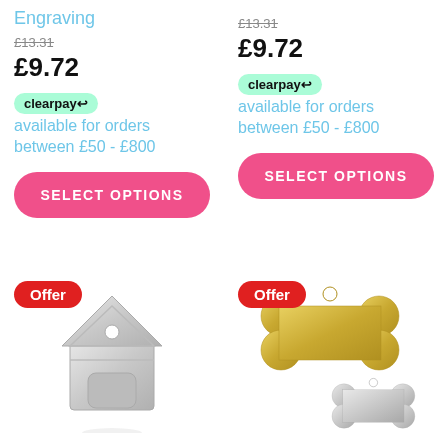Engraving
£13.31 (strikethrough)
£9.72
clearpay available for orders between £50 - £800
SELECT OPTIONS
£13.31 (strikethrough)
£9.72
clearpay available for orders between £50 - £800
SELECT OPTIONS
Offer
[Figure (photo): Silver house-shaped pet tag]
Offer
[Figure (photo): Gold and silver bone-shaped pet tags]